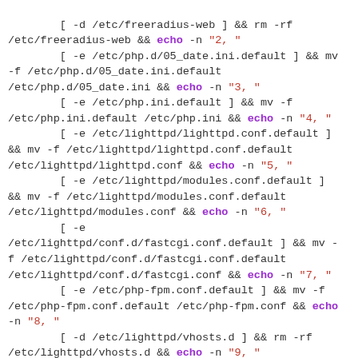Shell script code block showing a series of conditional file/directory checks and echo commands with numbered output markers.